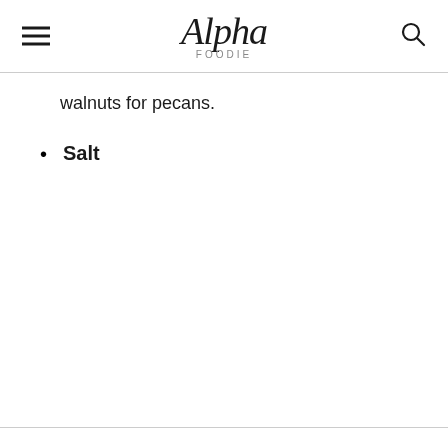Alpha Foodie
walnuts for pecans.
Salt